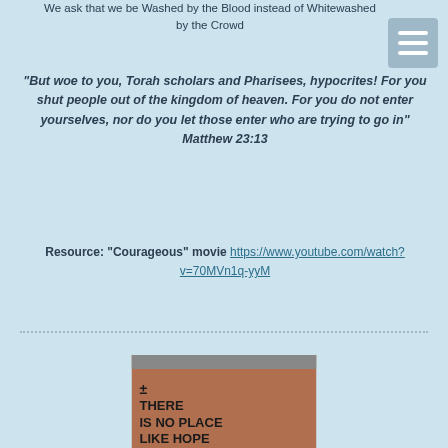We ask that we be Washed by the Blood instead of Whitewashed by the Crowd
“But woe to you, Torah scholars and Pharisees, hypocrites! For you shut people out of the kingdom of heaven. For you do not enter yourselves, nor do you let those enter who are trying to go in” Matthew 23:13
Resource: “Courageous” movie https://www.youtube.com/watch?v=70MVn1q-yyM
[Figure (photo): Photo of a brick wall with a sign reading “± THERE IS NO PLACE LIKE HOPE” in bold black text. A horizontal bar is visible at the top of the sign.]